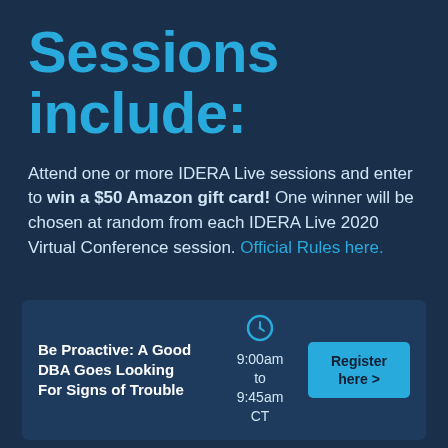Sessions include:
Attend one or more IDERA Live sessions and enter to win a $50 Amazon gift card! One winner will be chosen at random from each IDERA Live 2020 Virtual Conference session. Official Rules here.
| Session | Time | Action |
| --- | --- | --- |
| Be Proactive: A Good DBA Goes Looking For Signs of Trouble | 9:00am to 9:45am CT | Register here > |